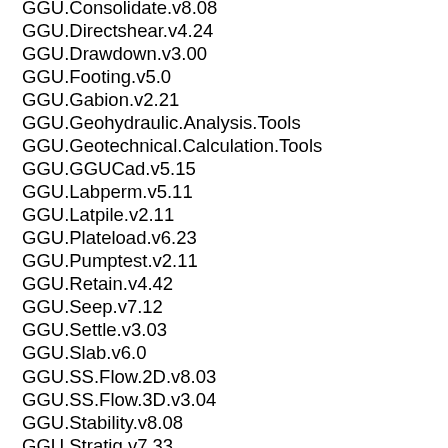GGU.Consolidate.v8.08
GGU.Directshear.v4.24
GGU.Drawdown.v3.00
GGU.Footing.v5.0
GGU.Gabion.v2.21
GGU.Geohydraulic.Analysis.Tools
GGU.Geotechnical.Calculation.Tools
GGU.GGUCad.v5.15
GGU.Labperm.v5.11
GGU.Latpile.v2.11
GGU.Plateload.v6.23
GGU.Pumptest.v2.11
GGU.Retain.v4.42
GGU.Seep.v7.12
GGU.Settle.v3.03
GGU.Slab.v6.0
GGU.SS.Flow.2D.v8.03
GGU.SS.Flow.3D.v3.04
GGU.Stability.v8.08
GGU.Stratig.v7.33
GGU.Time.Graph.v6.15
GGU.Timeset.v3.84
GGU.Transient.v4.10
GGU.Trench.v5.11